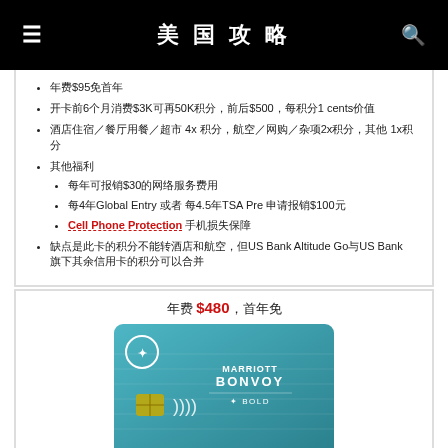美国攻略
年费$95，免首年
开卡前6个月消费$3K可再50K积分，前后$500，每积分1 cents价值
酒店住宿／餐厅用餐／超市 4x 积分，航空／网购／杂项2x积分，其他 1x积分
其他福利
每年可报销$30的网络服务费用
每4年Global Entry 或者 每4.5年TSA Pre 申请报销$100元
Cell Phone Protection 手机损失保障
缺点是此卡的积分不能转酒店和航空，但US Bank Altitude Go与US Bank 旗下其余信用卡的积分可以合并
年费 $480，首年免
[Figure (photo): Marriott Bonvoy Bold credit card image showing a teal/blue card with Chase logo, chip, and contactless payment symbol]